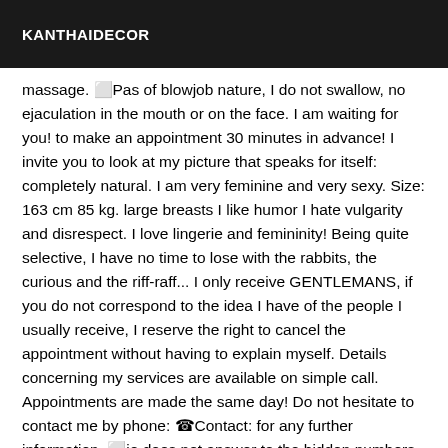KANTHAIDECOR
massage. ⬜Pas of blowjob nature, I do not swallow, no ejaculation in the mouth or on the face. I am waiting for you! to make an appointment 30 minutes in advance! I invite you to look at my picture that speaks for itself: completely natural. I am very feminine and very sexy. Size: 163 cm 85 kg. large breasts I like humor I hate vulgarity and disrespect. I love lingerie and femininity! Being quite selective, I have no time to lose with the rabbits, the curious and the riff-raff... I only receive GENTLEMANS, if you do not correspond to the idea I have of the people I usually receive, I reserve the right to cancel the appointment without having to explain myself. Details concerning my services are available on simple call. Appointments are made the same day! Do not hesitate to contact me by phone: ☎Contact: for any further information. ⬜je does not answer to the hidden numbers, ⬜ni fixed, ⬜ni from Messages.Thank you for